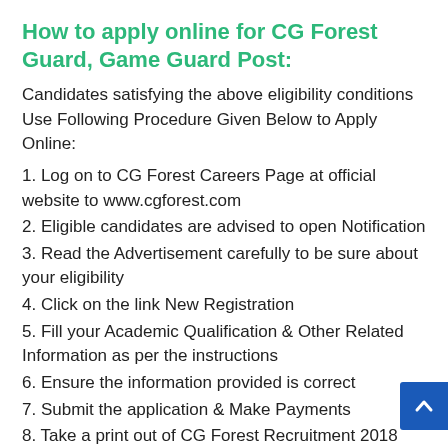How to apply online for CG Forest Guard, Game Guard Post:
Candidates satisfying the above eligibility conditions Use Following Procedure Given Below to Apply Online:
1. Log on to CG Forest Careers Page at official website to www.cgforest.com
2. Eligible candidates are advised to open Notification
3. Read the Advertisement carefully to be sure about your eligibility
4. Click on the link New Registration
5. Fill your Academic Qualification & Other Related Information as per the instructions
6. Ensure the information provided is correct
7. Submit the application & Make Payments
8. Take a print out of CG Forest Recruitment 2018